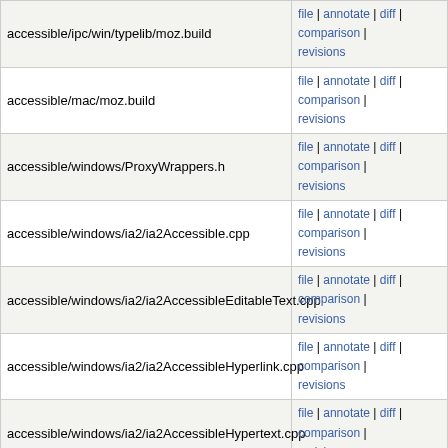| File | Actions |
| --- | --- |
| accessible/ipc/win/typelib/moz.build | file | annotate | diff | comparison | revisions |
| accessible/mac/moz.build | file | annotate | diff | comparison | revisions |
| accessible/windows/ProxyWrappers.h | file | annotate | diff | comparison | revisions |
| accessible/windows/ia2/ia2Accessible.cpp | file | annotate | diff | comparison | revisions |
| accessible/windows/ia2/ia2AccessibleEditableText.cpp | file | annotate | diff | comparison | revisions |
| accessible/windows/ia2/ia2AccessibleHyperlink.cpp | file | annotate | diff | comparison | revisions |
| accessible/windows/ia2/ia2AccessibleHypertext.cpp | file | annotate | diff | comparison | revisions |
| accessible/windows/ia2/ia2AccessibleText.cpp | file | annotate | diff | comparison | revisions |
| accessible/windows/ia2/ia2AccessibleValue.cpp | file | annotate | diff | comparison | revisions |
| accessible/windows/msaa/AccessibleWrap.cpp | file | annotate | diff | comparison | revisions |
| accessible/windows/msaa/DocAccessibleWrap.cpp | file | annotate | diff | comparison | revisions |
| accessible/windows/msaa/DocAccessibleWrap.h | file | annotate | diff | comparison | revisions |